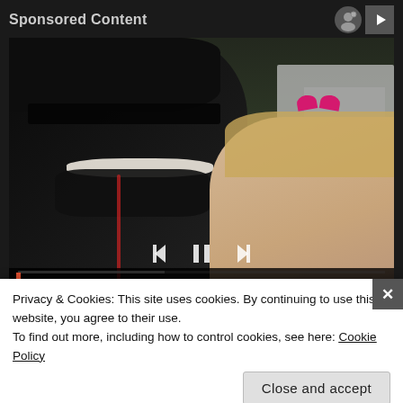Sponsored Content
[Figure (photo): A smiling man wearing a dark cap and sunglasses posing with a young blonde girl with a pink bow in her hair. Background shows a white vehicle and green grass.]
[Pics] Girl Gives Garbage Man Cupcake
Privacy & Cookies: This site uses cookies. By continuing to use this website, you agree to their use.
To find out more, including how to control cookies, see here: Cookie Policy
Close and accept